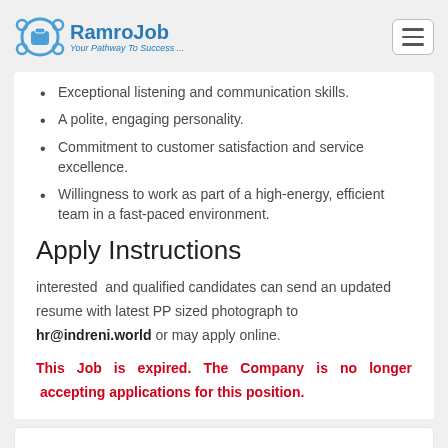RamroJob — Your Pathway To Success...
Exceptional listening and communication skills.
A polite, engaging personality.
Commitment to customer satisfaction and service excellence.
Willingness to work as part of a high-energy, efficient team in a fast-paced environment.
Apply Instructions
interested and qualified candidates can send an updated resume with latest PP sized photograph to hr@indreni.world or may apply online.
This Job is expired. The Company is no longer accepting applications for this position.